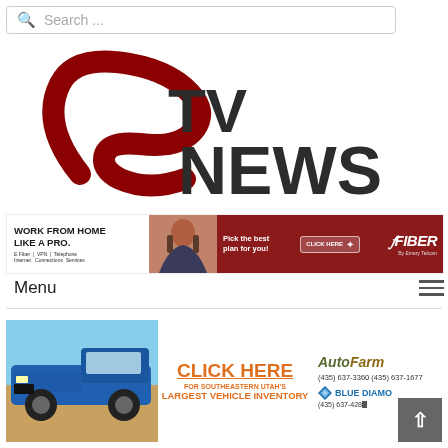[Figure (screenshot): Search bar with magnifying glass icon and placeholder text 'Search ...']
[Figure (logo): ETV News logo with large stylized E in dark red/maroon swoosh and TV, NEWS in bold dark gray text]
[Figure (infographic): E Fiber advertisement banner: 'Work From Home Like A Pro.' with woman photo, 'Pick the best plan for you! CLICK HERE', E Fiber by Emery Telcom logo on dark red background. Services: E Fiber Internet, VPN Connections, Telephone Services]
Menu
[Figure (infographic): AutoFarm advertisement: Blue truck photo on left, 'CLICK HERE FOR SOUTHEASTERN UTAH'S LARGEST VEHICLE INVENTORY' in orange, AutoFarm logo, phone numbers (435) 637-3360 (435) 637-1677, Blue Diamond logo (435) 637-428X]